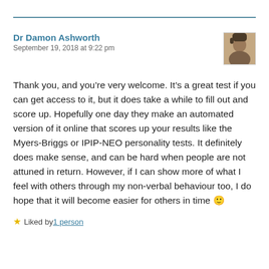Dr Damon Ashworth
September 19, 2018 at 9:22 pm
Thank you, and you’re very welcome. It’s a great test if you can get access to it, but it does take a while to fill out and score up. Hopefully one day they make an automated version of it online that scores up your results like the Myers-Briggs or IPIP-NEO personality tests. It definitely does make sense, and can be hard when people are not attuned in return. However, if I can show more of what I feel with others through my non-verbal behaviour too, I do hope that it will become easier for others in time 🙂
★ Liked by 1 person